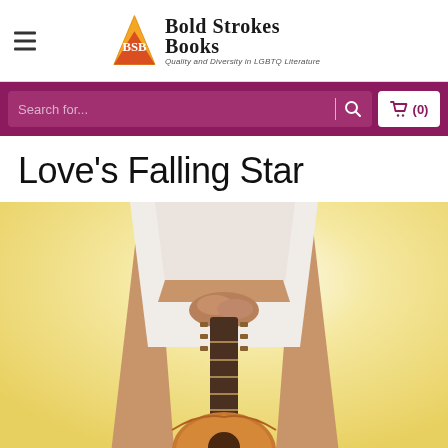Bold Strokes Books — Quality and Diversity in LGBTQ Literature
Love's Falling Star
[Figure (photo): Book cover photo: a woman in a white dress and white skirt standing with legs apart holding an acoustic guitar upright between her legs, on a warm yellow-white gradient background. Only the torso from waist down and legs are visible.]